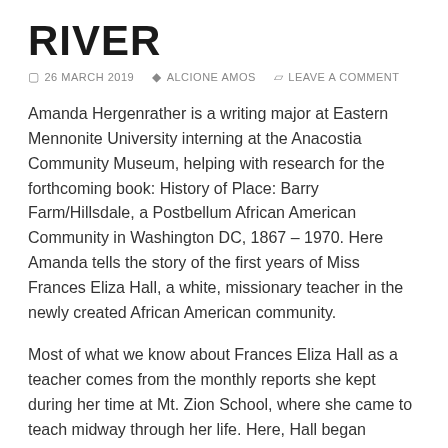RIVER
26 MARCH 2019   ALCIONE AMOS   LEAVE A COMMENT
Amanda Hergenrather is a writing major at Eastern Mennonite University interning at the Anacostia Community Museum, helping with research for the forthcoming book: History of Place: Barry Farm/Hillsdale, a Postbellum African American Community in Washington DC, 1867 – 1970. Here Amanda tells the story of the first years of Miss Frances Eliza Hall, a white, missionary teacher in the newly created African American community.
Most of what we know about Frances Eliza Hall as a teacher comes from the monthly reports she kept during her time at Mt. Zion School, where she came to teach midway through her life. Here, Hall began working as a teacher miles away from the comforts of her childhood home in Auburn, NY. Hall, at not quite 40, came to the District an unmarried white women with